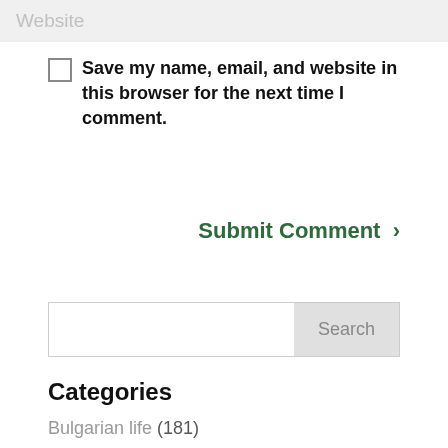Website (placeholder input)
Save my name, email, and website in this browser for the next time I comment.
Submit Comment >
Search (input field with Search button)
Categories
Bulgarian life (181)
Cat lover (7)
Food & recipes (46)
Gardening bore (78)